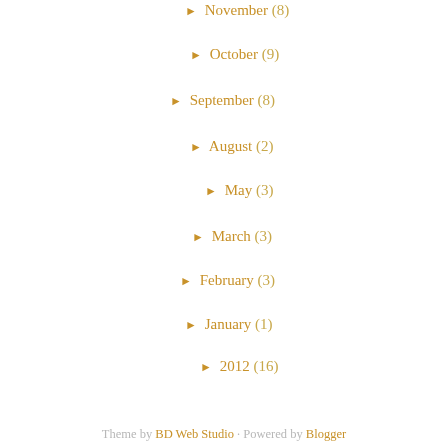► November (8)
► October (9)
► September (8)
► August (2)
► May (3)
► March (3)
► February (3)
► January (1)
► 2012 (16)
► December (5)
► November (6)
► October (5)
Theme by BD Web Studio · Powered by Blogger